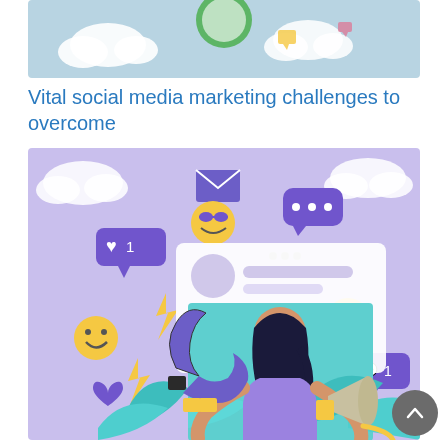[Figure (illustration): Top partial illustration showing clouds and colorful icons on a light blue background, cropped at top]
Vital social media marketing challenges to overcome
[Figure (illustration): Illustration of a woman in a purple shirt holding a horseshoe magnet in one hand and a megaphone in the other, surrounded by social media icons including emoji faces, hearts, like notifications, comment notifications, email envelope, chat bubbles, lightning bolts, and teal leaves, all on a purple/lavender background]